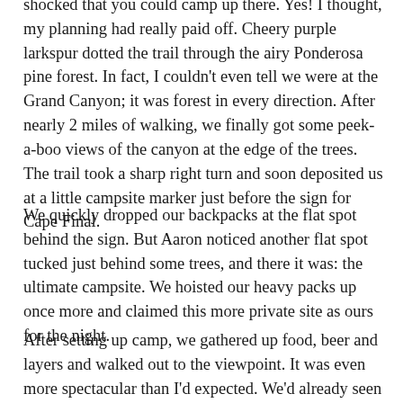shocked that you could camp up there. Yes! I thought, my planning had really paid off. Cheery purple larkspur dotted the trail through the airy Ponderosa pine forest. In fact, I couldn't even tell we were at the Grand Canyon; it was forest in every direction. After nearly 2 miles of walking, we finally got some peek-a-boo views of the canyon at the edge of the trees. The trail took a sharp right turn and soon deposited us at a little campsite marker just before the sign for Cape Final.
We quickly dropped our backpacks at the flat spot behind the sign. But Aaron noticed another flat spot tucked just behind some trees, and there it was: the ultimate campsite. We hoisted our heavy packs up once more and claimed this more private site as ours for the night.
After setting up camp, we gathered up food, beer and layers and walked out to the viewpoint. It was even more spectacular than I'd expected. We'd already seen so many incredible vistas, so I didn't think this one would be any